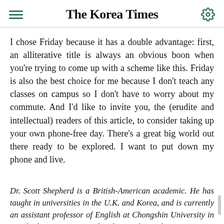The Korea Times
I chose Friday because it has a double advantage: first, an alliterative title is always an obvious boon when you're trying to come up with a scheme like this. Friday is also the best choice for me because I don't teach any classes on campus so I don't have to worry about my commute. And I'd like to invite you, the (erudite and intellectual) readers of this article, to consider taking up your own phone-free day. There's a great big world out there ready to be explored. I want to put down my phone and live.
Dr. Scott Shepherd is a British-American academic. He has taught in universities in the U.K. and Korea, and is currently an assistant professor of English at Chongshin University in Seoul. The views expressed in the article are the author's own and do not reflect the editorial direction of The Korea Times.